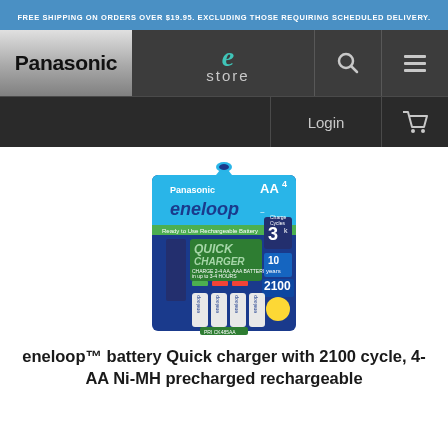FREE SHIPPING ON ORDERS OVER $19.95. EXCLUDING THOSE REQUIRING SCHEDULED DELIVERY.
[Figure (screenshot): Panasonic e-store navigation bar with logo, search icon, menu icon, Login button, and shopping cart icon]
[Figure (photo): Panasonic eneloop AA4 Quick Charger with 2100 cycle batteries product package — blue/green packaging showing Quick Charger label and 4 AA eneloop batteries]
eneloop™ battery Quick charger with 2100 cycle, 4-AA Ni-MH precharged rechargeable